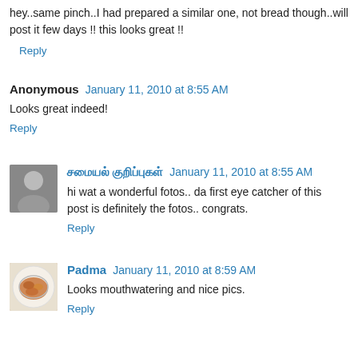hey..same pinch..I had prepared a similar one, not bread though..will post it few days !! this looks great !!
Reply
Anonymous  January 11, 2010 at 8:55 AM
Looks great indeed!
Reply
சமையல் குறிப்புகள்  January 11, 2010 at 8:55 AM
hi wat a wonderful fotos.. da first eye catcher of this post is definitely the fotos.. congrats.
Reply
Padma  January 11, 2010 at 8:59 AM
Looks mouthwatering and nice pics.
Reply